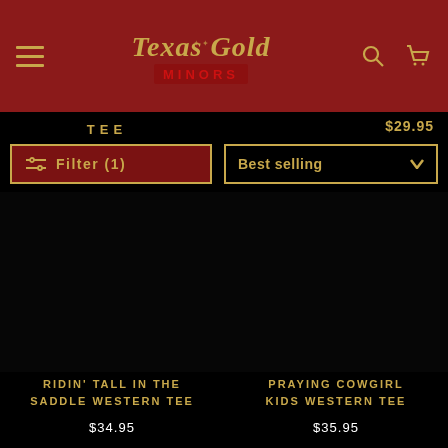Texas Gold Minors — navigation header with logo, menu, search, and cart
TEE
$29.95
Filter (1)
Best selling
[Figure (photo): Dark/black product image placeholder for Ridin' Tall in the Saddle Western Tee]
RIDIN' TALL IN THE SADDLE WESTERN TEE
$34.95
[Figure (photo): Dark/black product image placeholder for Praying Cowgirl Kids Western Tee]
PRAYING COWGIRL KIDS WESTERN TEE
$35.95